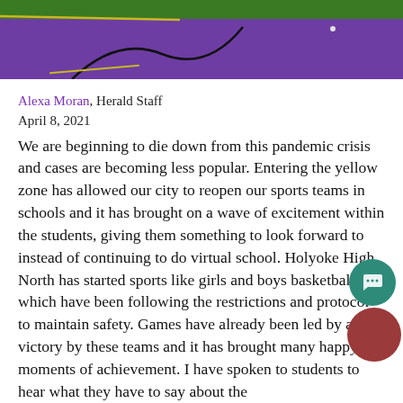[Figure (photo): Top of a sports field with purple turf and green grass strip, featuring a curved black line and yellow line visible on the field surface.]
Alexa Moran, Herald Staff
April 8, 2021
We are beginning to die down from this pandemic crisis and cases are becoming less popular. Entering the yellow zone has allowed our city to reopen our sports teams in schools and it has brought on a wave of excitement within the students, giving them something to look forward to instead of continuing to do virtual school. Holyoke High North has started sports like girls and boys basketball, which have been following the restrictions and protocol to maintain safety. Games have already been led by a victory by these teams and it has brought many happy moments of achievement. I have spoken to students to hear what they have to say about the